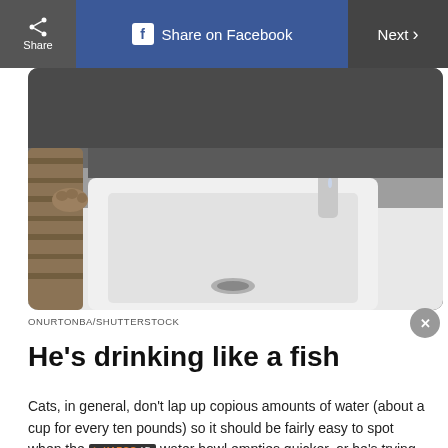Share | Share on Facebook | Next >
[Figure (photo): A cat standing at a bathroom sink with water dripping from the faucet, viewed from behind/side angle. White porcelain sink and chrome faucet visible.]
ONURTONBA/SHUTTERSTOCK
He's drinking like a fish
Cats, in general, don't lap up copious amounts of water (about a cup for every ten pounds) so it should be fairly easy to spot when the water bowl empties quicker, or he's trying to get water from other sources like the sink or toilet. “If your cat is drinking more water than normal this could be a sign that your cat has an endocrine disorder such